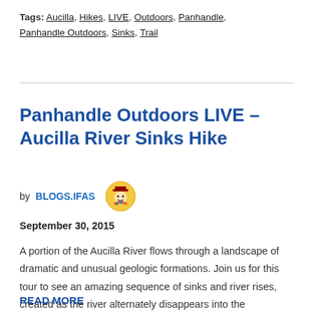Tags: Aucilla, Hikes, LIVE, Outdoors, Panhandle, Panhandle Outdoors, Sinks, Trail
Panhandle Outdoors LIVE – Aucilla River Sinks Hike
by BLOGS.IFAS  September 30, 2015
A portion of the Aucilla River flows through a landscape of dramatic and unusual geologic formations. Join us for this tour to see an amazing sequence of sinks and river rises, created as the river alternately disappears into the underlying …
READ MORE